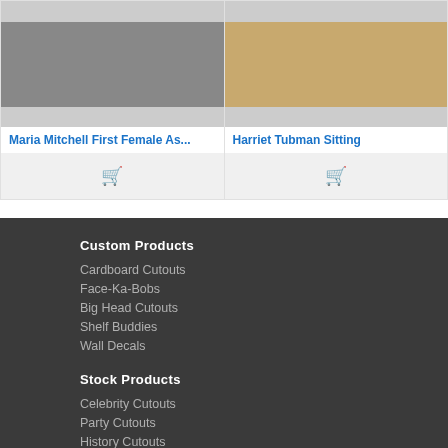[Figure (photo): Black and white photo of Maria Mitchell]
[Figure (photo): Photo of Harriet Tubman sitting, sepia/beige tones]
Maria Mitchell First Female As...
Harriet Tubman Sitting
[Figure (other): Shopping cart icon for Maria Mitchell product]
[Figure (other): Shopping cart icon for Harriet Tubman product]
Custom Products
Cardboard Cutouts
Face-Ka-Bobs
Big Head Cutouts
Shelf Buddies
Wall Decals
Stock Products
Celebrity Cutouts
Party Cutouts
History Cutouts
Disney Cutouts